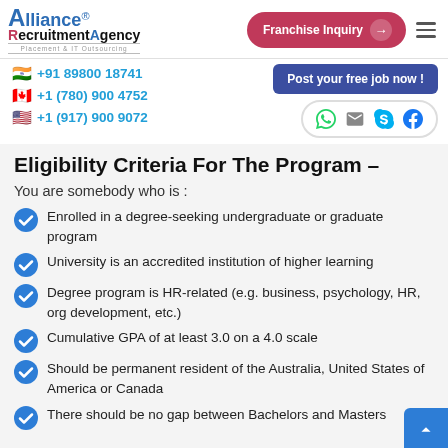Alliance Recruitment Agency — Placement & IT Outsourcing | Franchise Inquiry
+91 89800 18741 | +1 (780) 900 4752 | +1 (917) 900 9072
Eligibility Criteria For The Program –
You are somebody who is :
Enrolled in a degree-seeking undergraduate or graduate program
University is an accredited institution of higher learning
Degree program is HR-related (e.g. business, psychology, HR, org development, etc.)
Cumulative GPA of at least 3.0 on a 4.0 scale
Should be permanent resident of the Australia, United States of America or Canada
There should be no gap between Bachelors and Masters